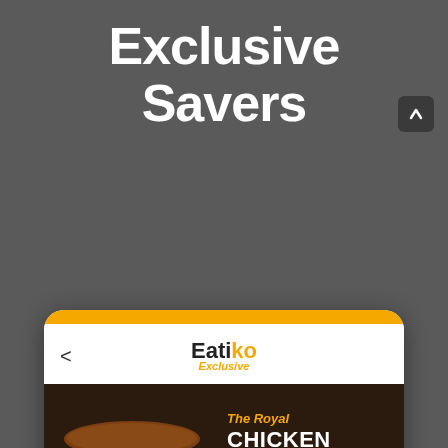Exclusive Savers
[Figure (screenshot): Mobile app screenshot showing Eatiko Exclusive page with The Royal Chicken Biriyani at ₹49, with food image, price, pagination dots, and ORDER NOW button]